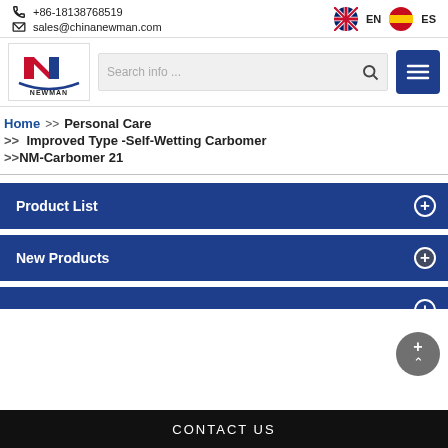+86-18138768519 | sales@chinanewman.com | EN | ES
[Figure (logo): Newman company logo with red and blue N letter mark above text NEWMAN]
Search info...
Home >> Personal Care >> Improved Type -Self-Wetting Carbomer >>NM-Carbomer 21
Product List
New Products
CONTACT US